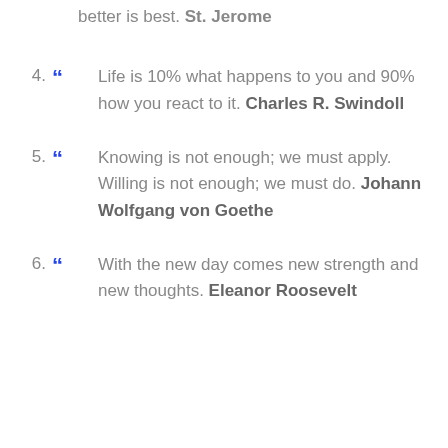better is best. St. Jerome
4. ““ Life is 10% what happens to you and 90% how you react to it. Charles R. Swindoll
5. ““ Knowing is not enough; we must apply. Willing is not enough; we must do. Johann Wolfgang von Goethe
6. ““ With the new day comes new strength and new thoughts. Eleanor Roosevelt